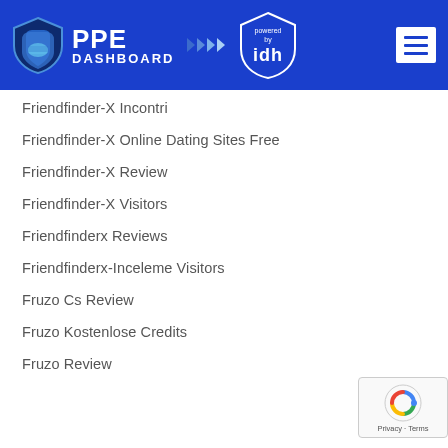[Figure (logo): PPE Dashboard logo with shield icon and 'powered by idh' badge on blue header background, with hamburger menu button on right]
Friendfinder-X Incontri
Friendfinder-X Online Dating Sites Free
Friendfinder-X Review
Friendfinder-X Visitors
Friendfinderx Reviews
Friendfinderx-Inceleme Visitors
Fruzo Cs Review
Fruzo Kostenlose Credits
Fruzo Review